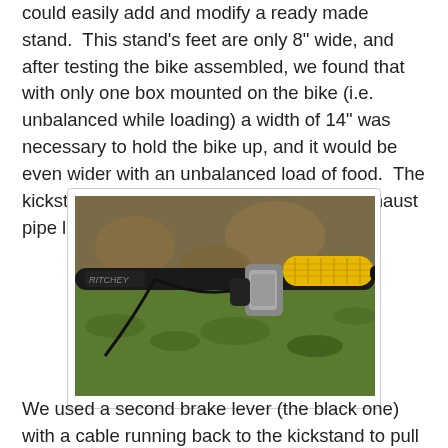could easily add and modify a ready made stand.  This stand's feet are only 8" wide, and after testing the bike assembled, we found that with only one box mounted on the bike (i.e. unbalanced while loading) a width of 14" was necessary to hold the bike up, and it would be even wider with an unbalanced load of food.  The kickstand does give the bike a nice dual exhaust pipe look though.
[Figure (photo): Close-up photo of a bicycle handlebar with a yellow corn cob grip, black brake lever, and Ritchey stem, set against a green grassy background.]
We used a second brake lever (the black one) with a cable running back to the kickstand to pull it down when parking.  In addition to Hannah's choice of Pumpkin orange paint,